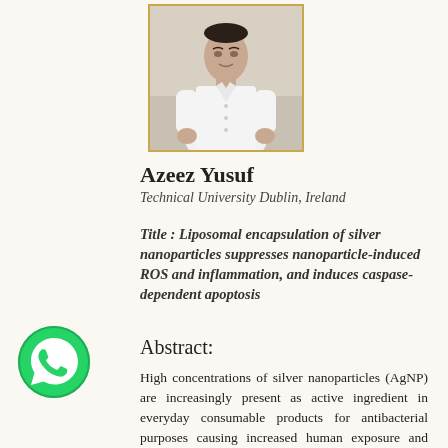[Figure (photo): Photo of Azeez Yusuf, a person in a white shirt, shown from waist up against a light background, framed with a gold border.]
Azeez Yusuf
Technical University Dublin, Ireland
Title : Liposomal encapsulation of silver nanoparticles suppresses nanoparticle-induced ROS and inflammation, and induces caspase-dependent apoptosis
Abstract:
High concentrations of silver nanoparticles (AgNP) are increasingly present as active ingredient in everyday consumable products for antibacterial purposes causing increased human exposure and high risk of adverse effect development. In this study, AgNP were encapsulated dipalmitoylphosphatyidyl choline (DPPC) based liposome, to enhance intracellular delivery, associated cytotoxicity and suppress AgNP induced inflammation. It